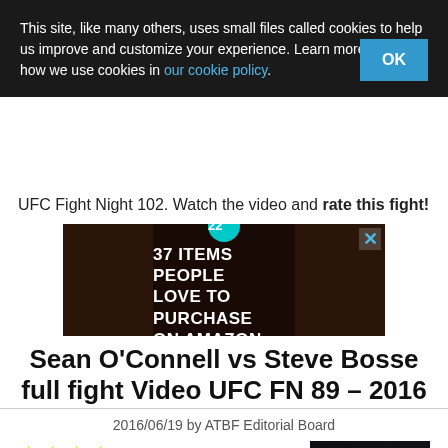This site, like many others, uses small files called cookies to help us improve and customize your experience. Learn more about how we use cookies in our cookie policy.
OK
UFC Fight Night 102. Watch the video and rate this fight!
[Figure (photo): Advertisement banner: dark background with food images on sides, teal circle with '22', text '37 ITEMS PEOPLE LOVE TO PURCHASE ON AMAZON']
Sean O'Connell vs Steve Bosse full fight Video UFC FN 89 – 2016
2016/06/19 by ATBF Editorial Board
Review by
AllTheBestFights.com: 2016-06-18, entertaining and tough fight with
[Figure (screenshot): Video thumbnail showing MMA fighters with CLOSE button overlay]